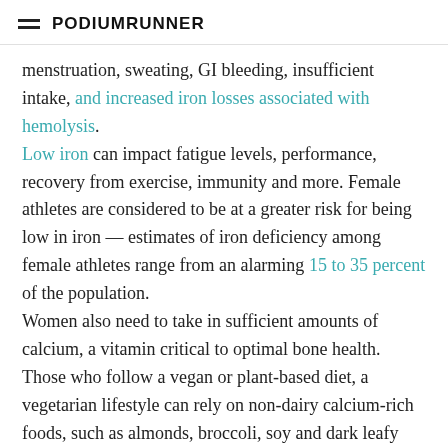PodiumRunner
menstruation, sweating, GI bleeding, insufficient intake, and increased iron losses associated with hemolysis.
Low iron can impact fatigue levels, performance, recovery from exercise, immunity and more. Female athletes are considered to be at a greater risk for being low in iron — estimates of iron deficiency among female athletes range from an alarming 15 to 35 percent of the population.
Women also need to take in sufficient amounts of calcium, a vitamin critical to optimal bone health. Those who follow a vegan or plant-based diet, a vegetarian lifestyle can rely on non-dairy calcium-rich foods, such as almonds, broccoli, soy and dark leafy greens, while avoiding calcium inhibitors, such as high amounts of coffee, sodium and oxalates. Athletes at risk for low calcium intake should consume 1500 mg/day to